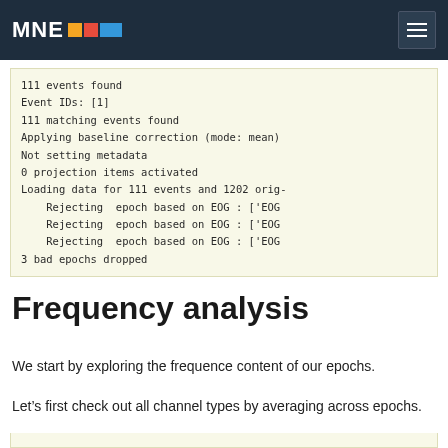MNE
111 events found
Event IDs: [1]
111 matching events found
Applying baseline correction (mode: mean)
Not setting metadata
0 projection items activated
Loading data for 111 events and 1202 orig-
    Rejecting  epoch based on EOG : ['EOG
    Rejecting  epoch based on EOG : ['EOG
    Rejecting  epoch based on EOG : ['EOG
3 bad epochs dropped
Frequency analysis
We start by exploring the frequence content of our epochs.
Let’s first check out all channel types by averaging across epochs.